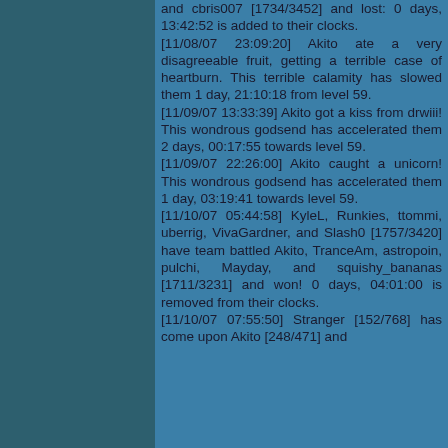and cbris007 [1734/3452] and lost: 0 days, 13:42:52 is added to their clocks.
[11/08/07 23:09:20] Akito ate a very disagreeable fruit, getting a terrible case of heartburn. This terrible calamity has slowed them 1 day, 21:10:18 from level 59.
[11/09/07 13:33:39] Akito got a kiss from drwiii! This wondrous godsend has accelerated them 2 days, 00:17:55 towards level 59.
[11/09/07 22:26:00] Akito caught a unicorn! This wondrous godsend has accelerated them 1 day, 03:19:41 towards level 59.
[11/10/07 05:44:58] KyleL, Runkies, ttommi, uberrig, VivaGardner, and Slash0 [1757/3420] have team battled Akito, TranceAm, astropoin, pulchi, Mayday, and squishy_bananas [1711/3231] and won! 0 days, 04:01:00 is removed from their clocks.
[11/10/07 07:55:50] Stranger [152/768] has come upon Akito [248/471] and